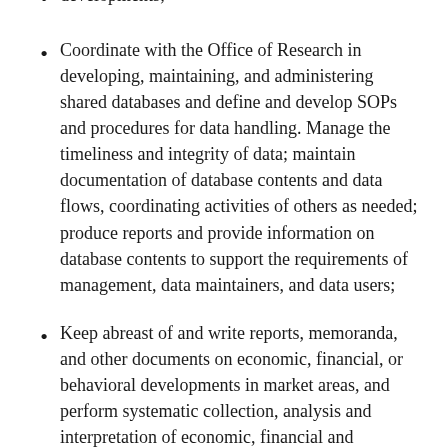developments;
Coordinate with the Office of Research in developing, maintaining, and administering shared databases and define and develop SOPs and procedures for data handling. Manage the timeliness and integrity of data; maintain documentation of database contents and data flows, coordinating activities of others as needed; produce reports and provide information on database contents to support the requirements of management, data maintainers, and data users;
Keep abreast of and write reports, memoranda, and other documents on economic, financial, or behavioral developments in market areas, and perform systematic collection, analysis and interpretation of economic, financial and statistical data to support findings. Develop